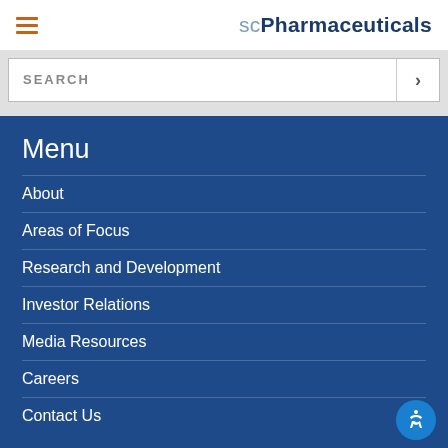scPharmaceuticals
SEARCH
Menu
About
Areas of Focus
Research and Development
Investor Relations
Media Resources
Careers
Contact Us